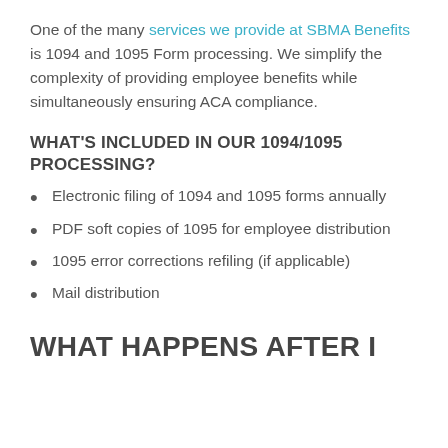One of the many services we provide at SBMA Benefits is 1094 and 1095 Form processing. We simplify the complexity of providing employee benefits while simultaneously ensuring ACA compliance.
WHAT'S INCLUDED IN OUR 1094/1095 PROCESSING?
Electronic filing of 1094 and 1095 forms annually
PDF soft copies of 1095 for employee distribution
1095 error corrections refiling (if applicable)
Mail distribution
WHAT HAPPENS AFTER I